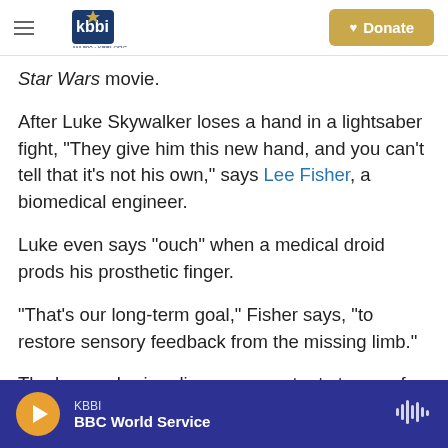KBBI AM 890 + KBBI.ORG Homer Alaska | Donate
Star Wars movie.
After Luke Skywalker loses a hand in a lightsaber fight, "They give him this new hand, and you can't tell that it's not his own," says Lee Fisher, a biomedical engineer.
Luke even says "ouch" when a medical droid prods his prosthetic finger.
"That's our long-term goal," Fisher says, "to restore sensory feedback from the missing limb."
The human brain relies on a constant stream of
KBBI | BBC World Service